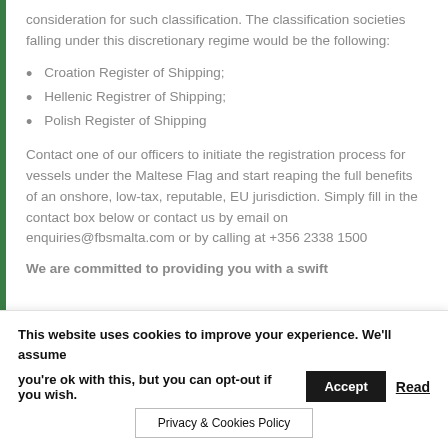consideration for such classification. The classification societies falling under this discretionary regime would be the following:
Croation Register of Shipping;
Hellenic Registrer of Shipping;
Polish Register of Shipping
Contact one of our officers to initiate the registration process for vessels under the Maltese Flag and start reaping the full benefits of an onshore, low-tax, reputable, EU jurisdiction. Simply fill in the contact box below or contact us by email on enquiries@fbsmalta.com or by calling at +356 2338 1500
We are committed to providing you with a swift
This website uses cookies to improve your experience. We'll assume you're ok with this, but you can opt-out if you wish. Accept Read Privacy & Cookies Policy